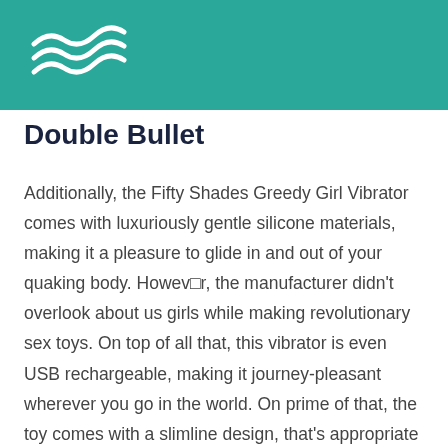[Figure (logo): White wave/swirl logo on teal background header bar]
Double Bullet
Additionally, the Fifty Shades Greedy Girl Vibrator comes with luxuriously gentle silicone materials, making it a pleasure to glide in and out of your quaking body. However, the manufacturer didn't overlook about us girls while making revolutionary sex toys. On top of all that, this vibrator is even USB rechargeable, making it journey-pleasant wherever you go in the world. On prime of that, the toy comes with a slimline design, that's appropriate for these of you who don't just like the thicker rabbit vibrators. If it's external, attempt choosing a extra powerful toy with additional vibration...